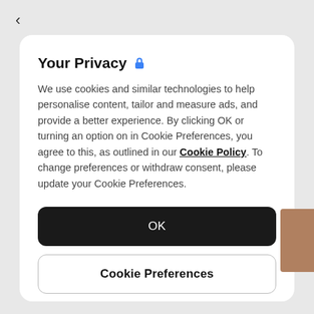Your Privacy 🔒
We use cookies and similar technologies to help personalise content, tailor and measure ads, and provide a better experience. By clicking OK or turning an option on in Cookie Preferences, you agree to this, as outlined in our Cookie Policy. To change preferences or withdraw consent, please update your Cookie Preferences.
OK
Cookie Preferences